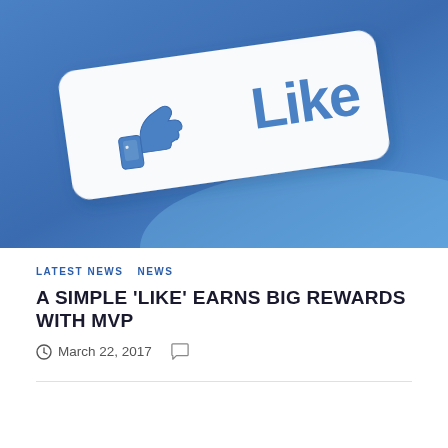[Figure (photo): Facebook Like button with thumbs up icon on a blue gradient background. A white rounded rectangle card with a blue thumbs up icon and the word 'Like' in blue text is shown tilted slightly.]
LATEST NEWS   NEWS
A SIMPLE 'LIKE' EARNS BIG REWARDS WITH MVP
March 22, 2017